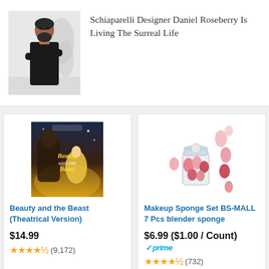[Figure (photo): Man in black clothing standing with arms crossed against a white/grey sculptural background]
Schiaparelli Designer Daniel Roseberry Is Living The Surreal Life
[Figure (photo): Beauty and the Beast movie poster showing Beast and Belle dancing in golden ballroom]
Beauty and the Beast (Theatrical Version)
$14.99
★★★★½ (9,172)
[Figure (photo): Makeup sponge set showing a glass jar with pink makeup blender sponges arranged around it]
Makeup Sponge Set BS-MALL 7 Pcs blender sponge
$6.99 ($1.00 / Count) ✓prime
★★★★½ (732)